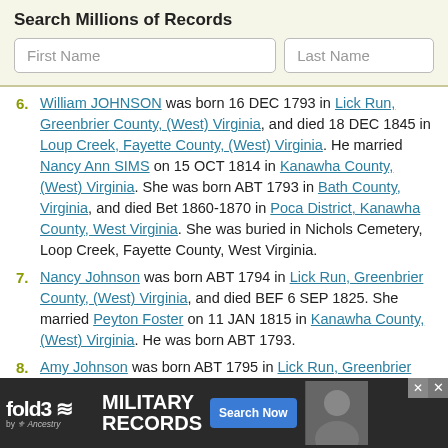Search Millions of Records
[Figure (screenshot): Search bar with First Name and Last Name input fields on a light yellow-green background]
6. William JOHNSON was born 16 DEC 1793 in Lick Run, Greenbrier County, (West) Virginia, and died 18 DEC 1845 in Loup Creek, Fayette County, (West) Virginia. He married Nancy Ann SIMS on 15 OCT 1814 in Kanawha County, (West) Virginia. She was born ABT 1793 in Bath County, Virginia, and died Bet 1860-1870 in Poca District, Kanawha County, West Virginia. She was buried in Nichols Cemetery, Loop Creek, Fayette County, West Virginia.
7. Nancy Johnson was born ABT 1794 in Lick Run, Greenbrier County, (West) Virginia, and died BEF 6 SEP 1825. She married Peyton Foster on 11 JAN 1815 in Kanawha County, (West) Virginia. He was born ABT 1793.
8. Amy Johnson was born ABT 1795 in Lick Run, Greenbrier County, (West) Virginia, and died 28 DEC 1859 in Kanawha Ri... and Turley Fo... (West)
[Figure (screenshot): Fold3 by Ancestry military records advertisement banner with Search Now button]